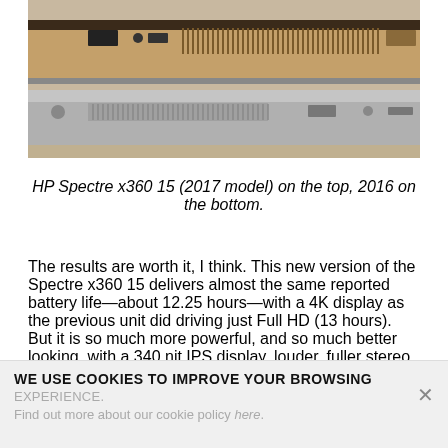[Figure (photo): Photo showing two laptops stacked on top of each other, viewed from the side, displaying their ports and ventilation grilles. The top laptop has a darker/gold finish and the bottom has a silver finish.]
HP Spectre x360 15 (2017 model) on the top, 2016 on the bottom.
The results are worth it, I think. This new version of the Spectre x360 15 delivers almost the same reported battery life—about 12.25 hours—with a 4K display as the previous unit did driving just Full HD (13 hours). But it is so much more powerful, and so much better looking, with a 340 nit IPS display, louder, fuller stereo speakers, and other advantages.
WE USE COOKIES TO IMPROVE YOUR BROWSING EXPERIENCE. Find out more about our cookie policy here.